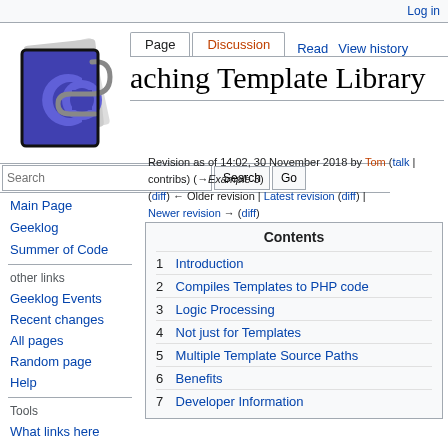Log in
[Figure (logo): Geeklog wiki logo - purple C letter on blue square with paper clip]
Page | Discussion | Read | View history
Caching Template Library
Search | Search | Go
Main Page
Geeklog
Summer of Code
other links
Geeklog Events
Recent changes
All pages
Random page
Help
Tools
What links here
Related changes
Special pages
Revision as of 14:02, 30 November 2018 by Tom (talk | contribs) (→Example 3)
(diff) ← Older revision | Latest revision (diff) | Newer revision → (diff)
| Contents |
| --- |
| 1 Introduction |
| 2 Compiles Templates to PHP code |
| 3 Logic Processing |
| 4 Not just for Templates |
| 5 Multiple Template Source Paths |
| 6 Benefits |
| 7 Developer Information |